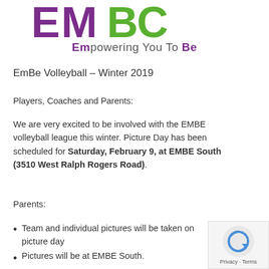[Figure (logo): EMBC logo with large stylized letters in purple and green]
Empowering You To Be
EmBe Volleyball – Winter 2019
Players, Coaches and Parents:
We are very excited to be involved with the EMBE volleyball league this winter. Picture Day has been scheduled for Saturday, February 9, at EMBE South (3510 West Ralph Rogers Road).
Parents:
Team and individual pictures will be taken on picture day
Pictures will be at EMBE South.